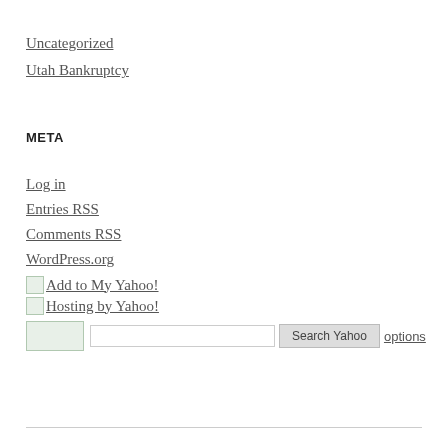Uncategorized
Utah Bankruptcy
META
Log in
Entries RSS
Comments RSS
WordPress.org
Add to My Yahoo!
Hosting by Yahoo!
[Figure (screenshot): Yahoo search bar with image placeholder, text input, Search Yahoo button, and options link]